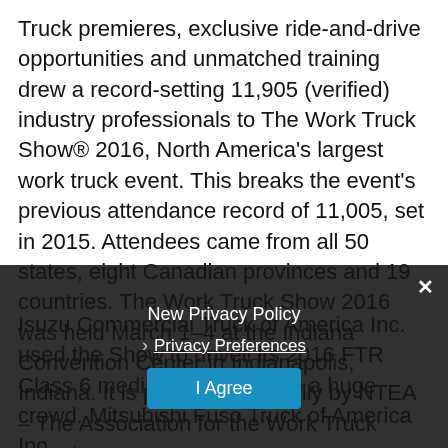Truck premieres, exclusive ride-and-drive opportunities and unmatched training drew a record-setting 11,905 (verified) industry professionals to The Work Truck Show® 2016, North America's largest work truck event. This breaks the event's previous attendance record of 11,005, set in 2015. Attendees came from all 50 states, eight Canadian provinces and 19 countries. The Work Truck Show 2016 was held March 1–4 at the Indiana Convention Center in Indianapolis, Indiana. It is produced annually by NTEA – The Association for the Work Truck Industry.
Isuzu Commercial Truck of America Inc. used the Show to unveil its 2016 FTR Class 6 medium-duty truck to a huge crowd. Mitsubishi Fuso Truck of America Inc.
New Privacy Policy
Privacy Preferences
I Agree